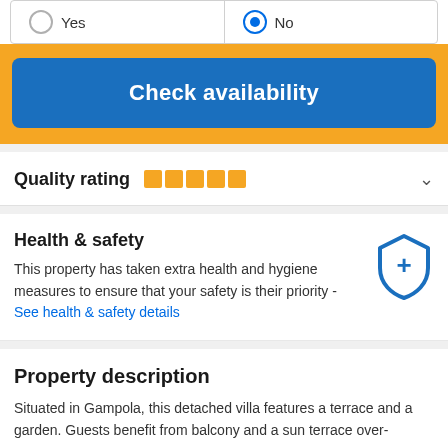[Figure (screenshot): Radio button selection row with Yes (unselected) and No (selected, blue) options]
[Figure (screenshot): Blue 'Check availability' button on yellow/orange background]
Quality rating
Health & safety
This property has taken extra health and hygiene measures to ensure that your safety is their priority - See health & safety details
Property description
Situated in Gampola, this detached villa features a terrace and a garden. Guests benefit from balcony and a sun terrace over-